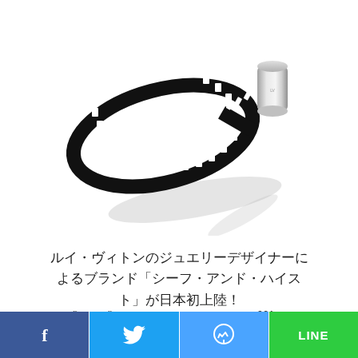[Figure (photo): A bracelet shaped like a film strip loop with a silver cylindrical clasp, photographed on white background with shadow]
ルイ・ヴィトンのジュエリーデザイナーによるブランド「シーフ・アンド・ハイスト」が日本初上陸！
"???"??????????????????001?
[Figure (infographic): Social media share bar with Facebook (blue), Twitter (light blue), Messenger (blue), and LINE (green) buttons]